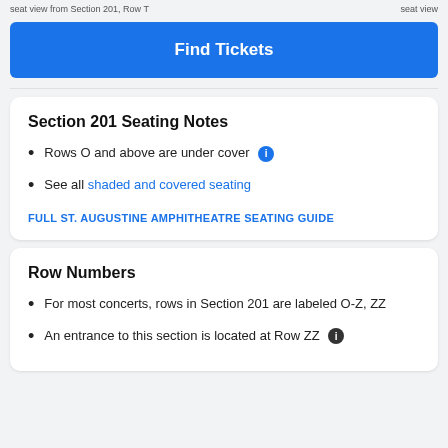seat view from Section 201, Row T    seat view
Find Tickets
Section 201 Seating Notes
Rows O and above are under cover
See all shaded and covered seating
FULL ST. AUGUSTINE AMPHITHEATRE SEATING GUIDE
Row Numbers
For most concerts, rows in Section 201 are labeled O-Z, ZZ
An entrance to this section is located at Row ZZ